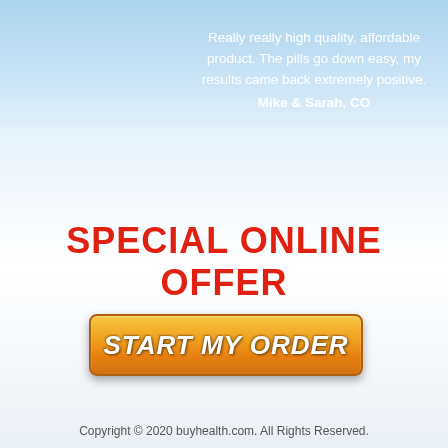Really really high quality, affordable product. The pills go down easy, my results came back extremely positive. Mike & Sarah, CO
SPECIAL ONLINE OFFER
[Figure (other): Orange gradient button with italic bold white text reading START MY ORDER]
Copyright © 2020 buyhealth.com. All Rights Reserved.